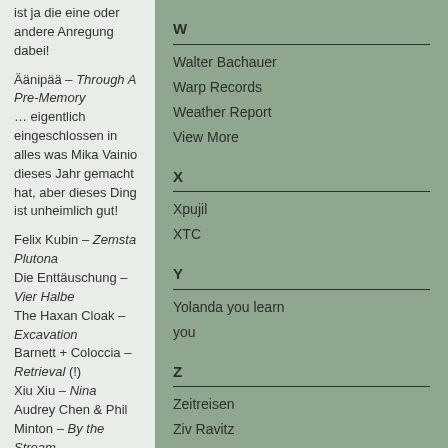ist ja die eine oder andere Anregung dabei!
Äänipää – Through A Pre-Memory … eigentlich eingeschlossen in alles was Mika Vainio dieses Jahr gemacht hat, aber dieses Ding ist unheimlich gut!
Felix Kubin – Zemsta Plutona Die Enttäuschung – Vier Halbe The Haxan Cloak – Excavation Barnett + Coloccia – Retrieval (!) Xiu Xiu – Nina Audrey Chen & Phil Minton – By the Stream
W
Walter Bachauer
Warp Records
Weather Report
View More
X
Xpujil
XTC
Y
Yolanda you learn
you
Z
Zeitreisen
Ziv Ravitz
Zlatko Kaučič
1